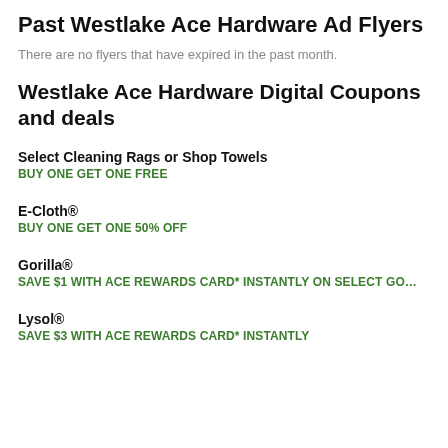Past Westlake Ace Hardware Ad Flyers
There are no flyers that have expired in the past month.
Westlake Ace Hardware Digital Coupons and deals
Select Cleaning Rags or Shop Towels
BUY ONE GET ONE FREE
E-Cloth®
BUY ONE GET ONE 50% OFF
Gorilla®
SAVE $1 WITH ACE REWARDS CARD* INSTANTLY on select Go…
Lysol®
SAVE $3 WITH ACE REWARDS CARD* INSTANTLY